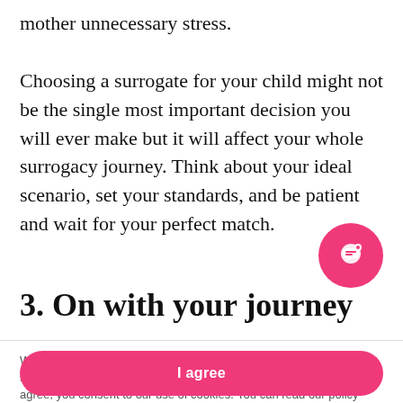mother unnecessary stress.

Choosing a surrogate for your child might not be the single most important decision you will ever make but it will affect your whole surrogacy journey. Think about your ideal scenario, set your standards, and be patient and wait for your perfect match.
3. On with your journey
We use cookies to offer you a better browsing experience, analyze site traffic and personalize content. By using this site or clicking I agree, you consent to our use of cookies. You can read our policy here.